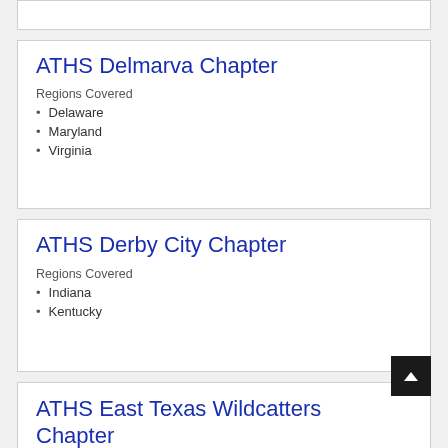ATHS Delmarva Chapter
Regions Covered
Delaware
Maryland
Virginia
ATHS Derby City Chapter
Regions Covered
Indiana
Kentucky
ATHS East Texas Wildcatters Chapter